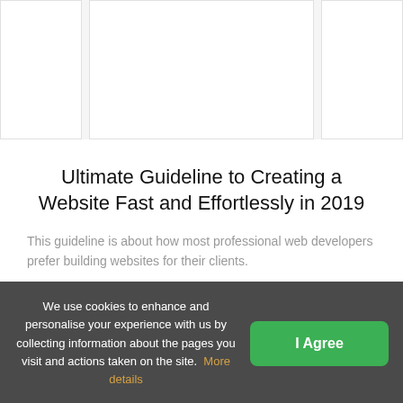[Figure (screenshot): Three card-style image placeholders in a row at the top of the page, showing white/light gray panels on a light gray background]
Ultimate Guideline to Creating a Website Fast and Effortlessly in 2019
This guideline is about how most professional web developers prefer building websites for their clients.
READ MORE
We use cookies to enhance and personalise your experience with us by collecting information about the pages you visit and actions taken on the site. More details | I Agree